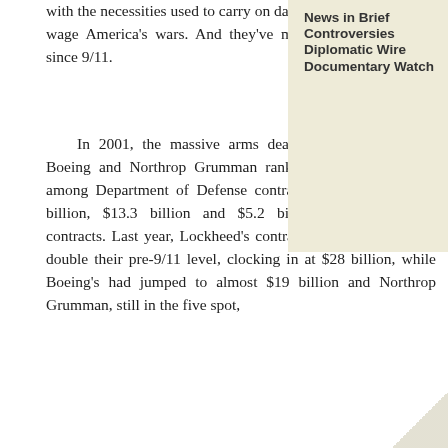with the necessities used to carry on day-to-day operations and wage America's wars. And they've made a killing doing it since 9/11.
In 2001, the massive arms dealers Lockheed Martin, Boeing and Northrop Grumman ranked one, two and five among Department of Defense contractors, raking in $14.7 billion, $13.3 billion and $5.2 billion, respectively, in contracts. Last year, Lockheed's contract dollars were almost double their pre-9/11 level, clocking in at $28 billion, while Boeing's had jumped to almost $19 billion and Northrop Grumman, still in the five spot,
News in Brief
Controversies
Diplomatic Wire
Documentary Watch